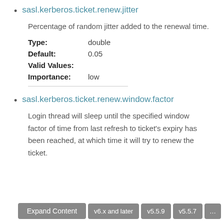sasl.kerberos.ticket.renew.jitter
Percentage of random jitter added to the renewal time.
Type: double
Default: 0.05
Valid Values:
Importance: low
sasl.kerberos.ticket.renew.window.factor
Login thread will sleep until the specified window factor of time from last refresh to ticket's expiry has been reached, at which time it will try to renew the ticket.
Type: double